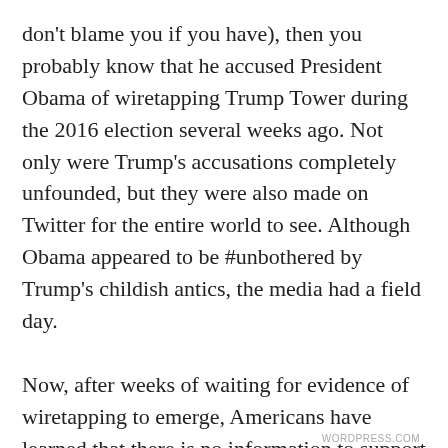don't blame you if you have), then you probably know that he accused President Obama of wiretapping Trump Tower during the 2016 election several weeks ago. Not only were Trump's accusations completely unfounded, but they were also made on Twitter for the entire world to see. Although Obama appeared to be #unbothered by Trump's childish antics, the media had a field day.

Now, after weeks of waiting for evidence of wiretapping to emerge, Americans have learned that there is no information to support Trump's claims. Surprise…
Privacy & Cookies: This site uses cookies. By continuing to use this website, you agree to their use.
To find out more, including how to control cookies, see here: Cookie Policy
Close and accept
WORDPRESS.COM